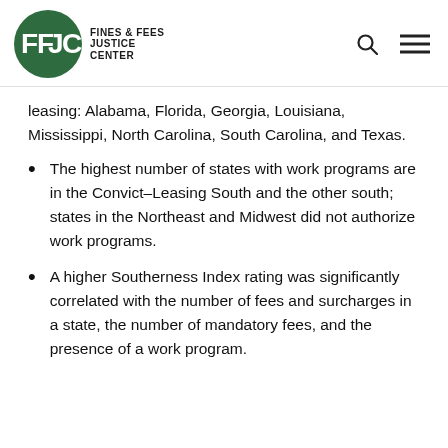FFJC FINES & FEES JUSTICE CENTER
leasing: Alabama, Florida, Georgia, Louisiana, Mississippi, North Carolina, South Carolina, and Texas.
The highest number of states with work programs are in the Convict–Leasing South and the other south; states in the Northeast and Midwest did not authorize work programs.
A higher Southerness Index rating was significantly correlated with the number of fees and surcharges in a state, the number of mandatory fees, and the presence of a work program.